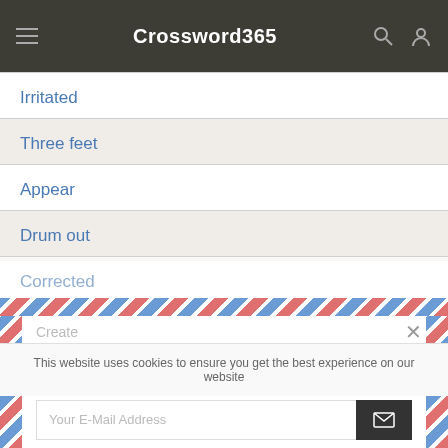Crossword365
Irritated
Three feet
Appear
Drum out
Corrected
[Figure (screenshot): Email subscription popup with airmail border decoration. Contains text: 'Get the Metro Crossword Answers delivered to your inbox every day!' with an email input field and submit button.]
Get the Metro Crossword Answers delivered to your inbox every day!
Your E-Mail Address
This website uses cookies to ensure you get the best experience on our website